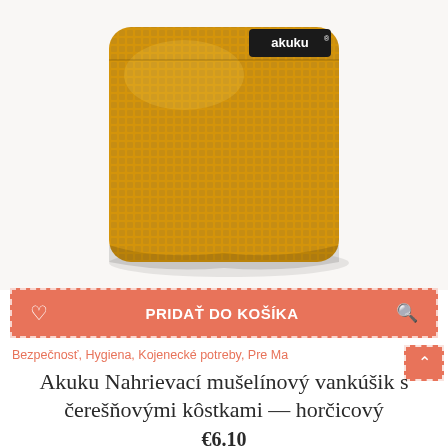[Figure (photo): Mustard yellow waffle-textured heating pillow with cherry pits, showing the Akuku brand label, folded and photographed on white background.]
PRIDAŤ DO KOŠÍKA
Bezpečnosť, Hygiena, Kojenecké potreby, Pre Ma
Akuku Nahrievací mušelínový vankúšik s čerešňovými kôstkami — horčicový
€6.10